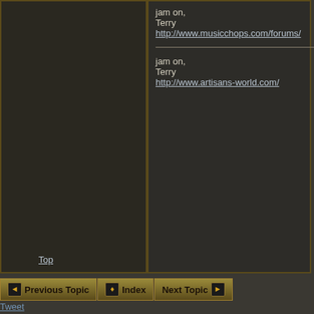jam on,
Terry
http://www.musicchops.com/forums/

jam on,
Terry
http://www.artisans-world.com/
Top
Previous Topic | Index | Next Topic
Tweet
| Subject | Posted by | Posted |
| --- | --- | --- |
| Pachelbel's Canon in D | trtjazz | 01/13/06 05:06 PM |
| Re: Pachelbel's Canon in D | BEBOP | 01/13/06 08:33 PM |
| Re: Pachelbel's Canon in D | trtjazz | 01/14/06 08:06 AM |